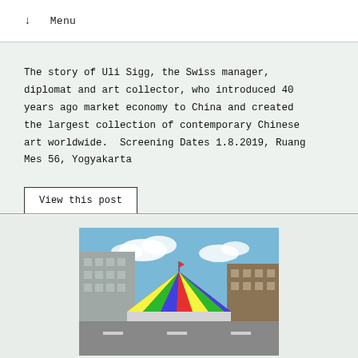↓  Menu
The story of Uli Sigg, the Swiss manager, diplomat and art collector, who introduced 40 years ago market economy to China and created the largest collection of contemporary Chinese art worldwide. Screening Dates 1.8.2019, Ruang Mes 56, Yogyakarta
View this post
[Figure (photo): Outdoor urban scene with colorful circus tent marquee in red, yellow, green, blue stripes against a blue sky with clouds, surrounded by multi-story city buildings]